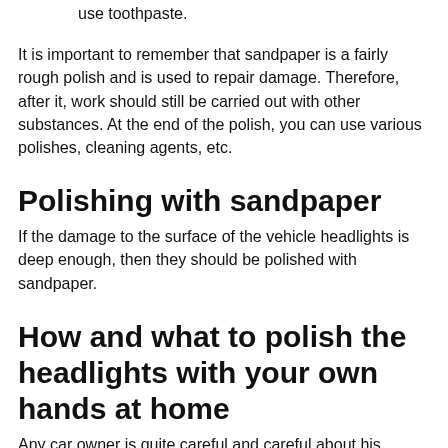use toothpaste.
It is important to remember that sandpaper is a fairly rough polish and is used to repair damage. Therefore, after it, work should still be carried out with other substances. At the end of the polish, you can use various polishes, cleaning agents, etc.
Polishing with sandpaper
If the damage to the surface of the vehicle headlights is deep enough, then they should be polished with sandpaper.
How and what to polish the headlights with your own hands at home
Any car owner is quite careful and careful about his